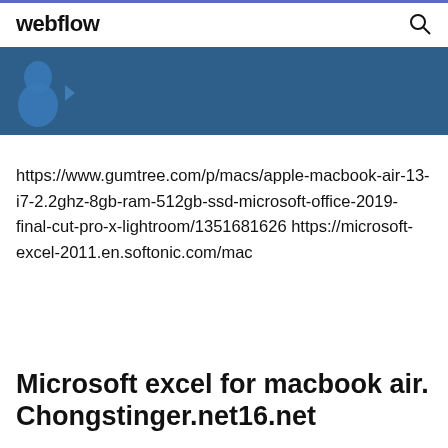webflow
[Figure (screenshot): Blue banner with partial figure/icon on dark blue background]
https://www.gumtree.com/p/macs/apple-macbook-air-13-i7-2.2ghz-8gb-ram-512gb-ssd-microsoft-office-2019-final-cut-pro-x-lightroom/1351681626 https://microsoft-excel-2011.en.softonic.com/mac
Microsoft excel for macbook air.
Chongstinger.net16.net